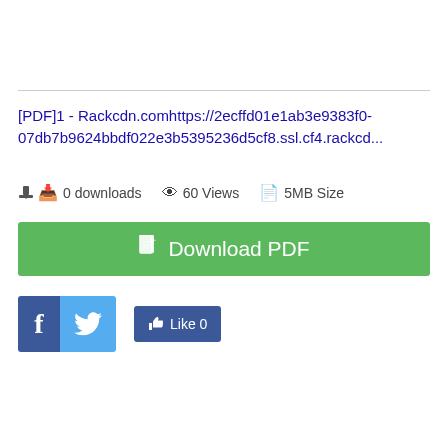[PDF]1 - Rackcdn.comhttps://2ecffd01e1ab3e9383f0-07db7b9624bbdf022e3b5395236d5cf8.ssl.cf4.rackcd...
0 downloads   60 Views   5MB Size
[Figure (other): Green Download PDF button with document icon]
[Figure (other): Social sharing buttons: Facebook (blue f), Twitter (blue bird), and Like 0 button]